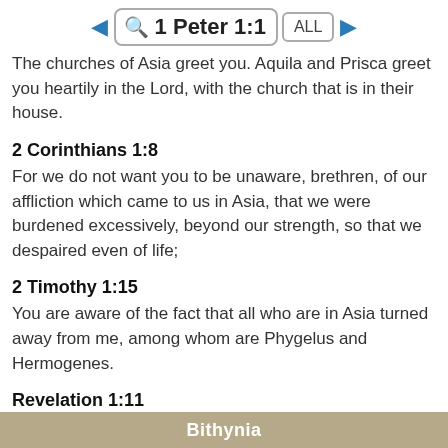1 Peter 1:1
The churches of Asia greet you. Aquila and Prisca greet you heartily in the Lord, with the church that is in their house.
2 Corinthians 1:8
For we do not want you to be unaware, brethren, of our affliction which came to us in Asia, that we were burdened excessively, beyond our strength, so that we despaired even of life;
2 Timothy 1:15
You are aware of the fact that all who are in Asia turned away from me, among whom are Phygelus and Hermogenes.
Revelation 1:11
saying, “Write in a book what you see, and send it to the seven churches: to Ephesus and to Smyrna and to Pergamum and to Thyatira and to Sardis and to Philadelphia and to Laodicea.”
Bithynia